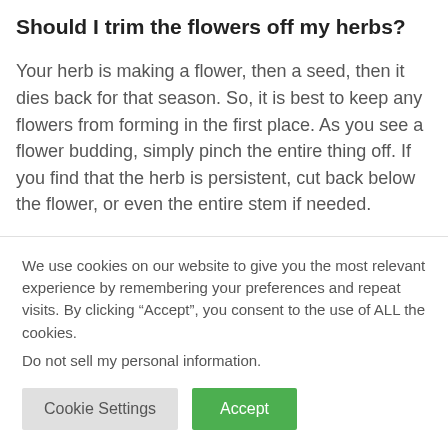Should I trim the flowers off my herbs?
Your herb is making a flower, then a seed, then it dies back for that season. So, it is best to keep any flowers from forming in the first place. As you see a flower budding, simply pinch the entire thing off. If you find that the herb is persistent, cut back below the flower, or even the entire stem if needed.
We use cookies on our website to give you the most relevant experience by remembering your preferences and repeat visits. By clicking “Accept”, you consent to the use of ALL the cookies.
Do not sell my personal information.